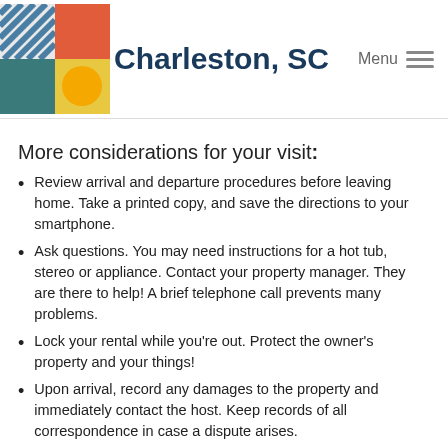Charleston, SC | Menu
More considerations for your visit:
Review arrival and departure procedures before leaving home. Take a printed copy, and save the directions to your smartphone.
Ask questions. You may need instructions for a hot tub, stereo or appliance. Contact your property manager. They are there to help! A brief telephone call prevents many problems.
Lock your rental while you're out. Protect the owner's property and your things!
Upon arrival, record any damages to the property and immediately contact the host. Keep records of all correspondence in case a dispute arises.
Respect your neighbors. Often, adjacent homes are filled by local residents. Respecting quiet hours and parking policies is the right thing to do.
Speaking of neighbors. Ask a local! Local residents can